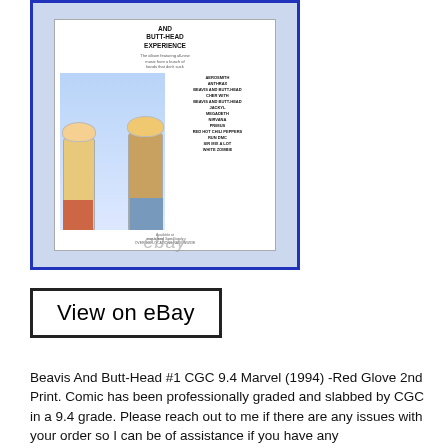[Figure (photo): eBay listing photo of a CGC-slabbed Beavis And Butt-Head #1 comic book in a blue-bordered case, showing the comic cover with Beavis and Butt-Head characters and a tracklist for the Beavis and Butt-Head Experience album. eBay watermark visible on image.]
View on eBay
Beavis And Butt-Head #1 CGC 9.4 Marvel (1994) -Red Glove 2nd Print. Comic has been professionally graded and slabbed by CGC in a 9.4 grade. Please reach out to me if there are any issues with your order so I can be of assistance if you have any